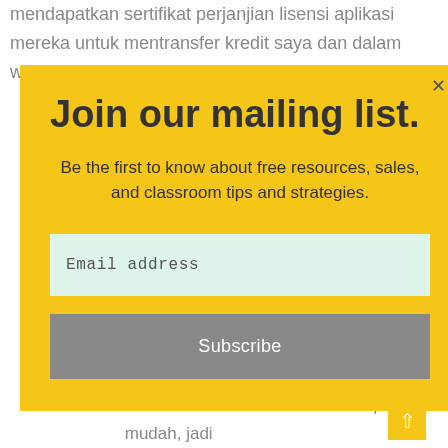mendapatkan sertifikat perjanjian lisensi aplikasi mereka untuk mentransfer kredit saya dan dalam waktu kurang dari 48 jam uang pinjaman telah
Join our mailing list.
Be the first to know about free resources, sales, and classroom tips and strategies.
Email address
Subscribe
tidak akan pernah bungkrat lagi dalam Anda. Semoga ALLAH memberkati Ny Wilson untuk membuat hidup saya mudah, jadi